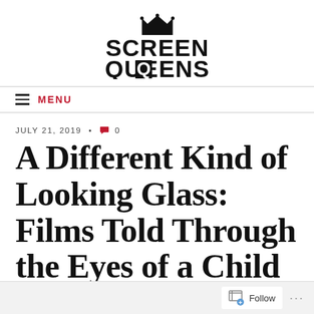SCREEN QUEENS
MENU
JULY 21, 2019 • 0
A Different Kind of Looking Glass: Films Told Through the Eyes of a Child
Follow